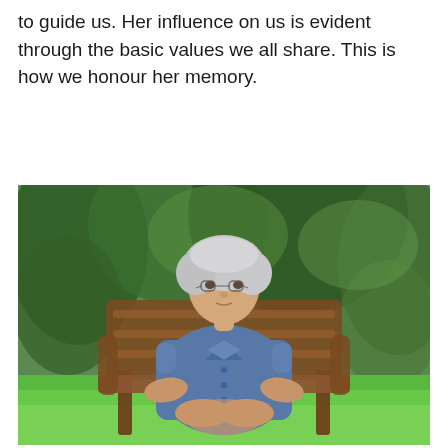...Hana Holesler lived an exemplary life and continues to guide us. Her influence on us is evident through the basic values we all share. This is how we honour her memory.
[Figure (photo): An elderly woman with white curly hair and glasses, wearing a blue short-sleeved dress, seated in a wooden chair outdoors in front of green trees and grass.]